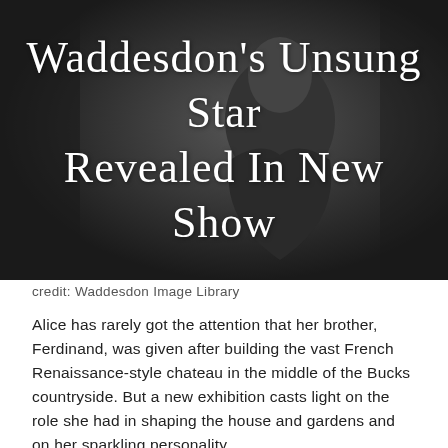[Figure (photo): Black and white historical photograph of a woman in a Victorian dress, overlaid with white cursive script title text reading "Waddesdon's Unsung Star Revealed In New Show"]
Waddesdon's Unsung Star Revealed In New Show
credit: Waddesdon Image Library
Alice has rarely got the attention that her brother, Ferdinand, was given after building the vast French Renaissance-style chateau in the middle of the Bucks countryside. But a new exhibition casts light on the role she had in shaping the house and gardens and on her sparkling personality.
I hot-footed it along to the press preview and it turns out there's a lot to learn about the